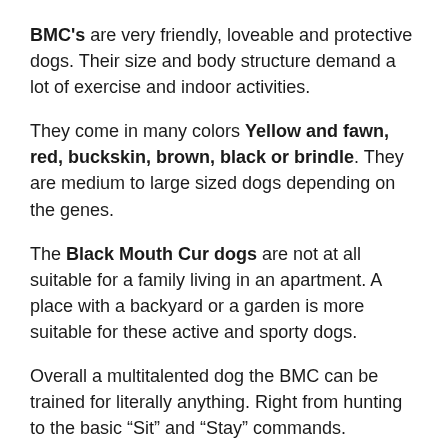BMC's are very friendly, loveable and protective dogs. Their size and body structure demand a lot of exercise and indoor activities.
They come in many colors Yellow and fawn, red, buckskin, brown, black or brindle. They are medium to large sized dogs depending on the genes.
The Black Mouth Cur dogs are not at all suitable for a family living in an apartment. A place with a backyard or a garden is more suitable for these active and sporty dogs.
Overall a multitalented dog the BMC can be trained for literally anything. Right from hunting to the basic “Sit” and “Stay” commands.